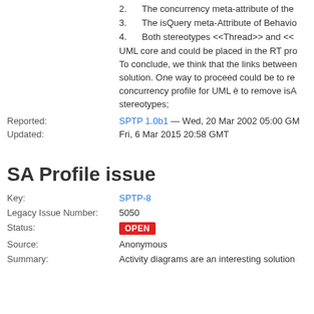2. The concurrency meta-attribute of the
3. The isQuery meta-Attribute of Behavio
4. Both stereotypes <<Thread>> and <<
UML core and could be placed in the RT pro
To conclude, we think that the links between solution. One way to proceed could be to re concurrency profile for UML è to remove isA stereotypes;
Reported:
SPTP 1.0b1 — Wed, 20 Mar 2002 05:00 GM
Updated:
Fri, 6 Mar 2015 20:58 GMT
SA Profile issue
Key: SPTP-8
Legacy Issue Number: 5050
Status: OPEN
Source: Anonymous
Summary: Activity diagrams are an interesting solution